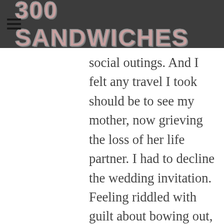300 SANDWICHES
social outings. And I felt any travel I took should be to see my mother, now grieving the loss of her life partner. I had to decline the wedding invitation. Feeling riddled with guilt about bowing out, I avoided telling my friend the news for weeks.